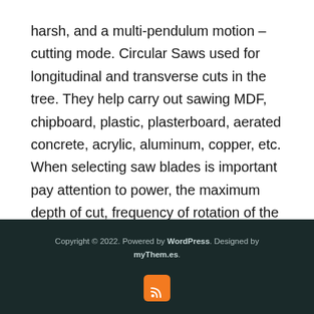harsh, and a multi-pendulum motion – cutting mode. Circular Saws used for longitudinal and transverse cuts in the tree. They help carry out sawing MDF, chipboard, plastic, plasterboard, aerated concrete, acrylic, aluminum, copper, etc. When selecting saw blades is important pay attention to power, the maximum depth of cut, frequency of rotation of the disk. The question of what the tool manufacturer to give preference, it is better to decide by examining the characteristics of interest models on the official websites of manufacturers. The optional tool must complete with official warranty card, in which the addresses of service centers, and instruction in Russian. Article provided by "Cyber" – e-shop tools
Copyright © 2022. Powered by WordPress. Designed by myThem.es.